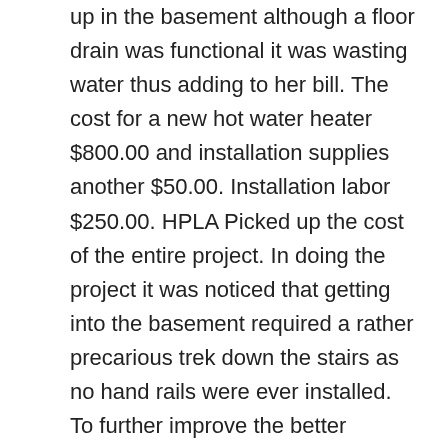up in the basement although a floor drain was functional it was wasting water thus adding to her bill. The cost for a new hot water heater $800.00 and installation supplies another $50.00. Installation labor $250.00. HPLA Picked up the cost of the entire project. In doing the project it was noticed that getting into the basement required a rather precarious trek down the stairs as no hand rails were ever installed. To further improve the better welfare of Ms. R or her liability for anyone getting hurt going down the stairs handrails were added. You our contributors paid for all the work and HPLA provided all the labor without using any of your donations. In a parallel project to repair sagging cutters on a home HPLA did pay for discounted labor as volunteer support was not readily available and a handy man company was. The roof and foundation further damaging the foundation and allowing water to enter